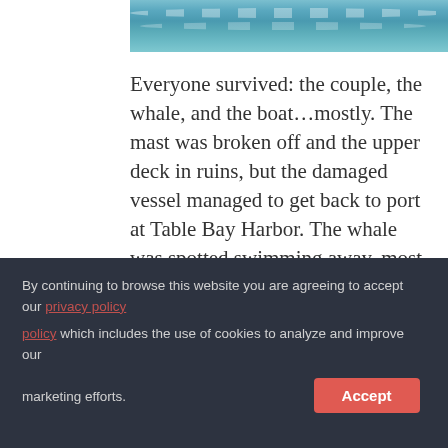[Figure (photo): Ocean/sea surface with waves, teal-blue water]
Everyone survived: the couple, the whale, and the boat…mostly. The mast was broken off and the upper deck in ruins, but the damaged vessel managed to get back to port at Table Bay Harbor. The whale was spotted swimming away, most likely a little scraped and bruised after the ordeal. One of the Intrepid's passengers, Paloma Werner, said there were small bits of black whale blubber, a little blood and some barnacles on the ship's deck.
By continuing to browse this website you are agreeing to accept our privacy policy which includes the use of cookies to analyze and improve our marketing efforts.